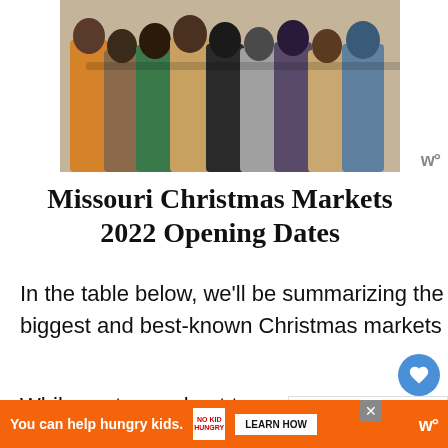[Figure (photo): Group of people seen from behind standing together with arms around each other, colorful clothing]
Missouri Christmas Markets 2022 Opening Dates
In the table below, we’ll be summarizing the known opening dates for some of Missouri’s biggest and best-known Christmas markets and fairs this year.
While we try our best to ensure our information is up-to-date and accurate,